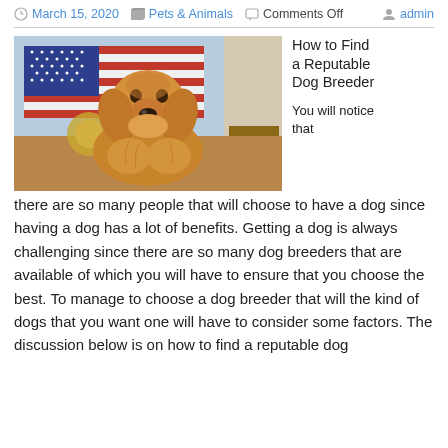March 15, 2020   Pets & Animals   Comments Off   admin
[Figure (photo): Golden retriever dog sitting in front of an American flag background, looking at camera]
How to Find a Reputable Dog Breeder
You will notice that there are so many people that will choose to have a dog since having a dog has a lot of benefits. Getting a dog is always challenging since there are so many dog breeders that are available of which you will have to ensure that you choose the best. To manage to choose a dog breeder that will the kind of dogs that you want one will have to consider some factors. The discussion below is on how to find a reputable dog